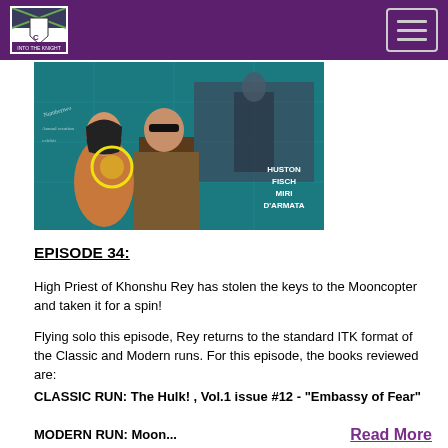INTO THE KNIGHT (logo) — navigation header with hamburger menu
[Figure (illustration): Comic book cover art showing two characters (a woman and a man in a trench coat) in front of a teal-colored map backdrop with figures in the background, credited to HUSTON, FISCH, MIRI, D'ARMATA]
EPISODE 34:
High Priest of Khonshu Rey has stolen the keys to the Mooncopter and taken it for a spin!
Flying solo this episode, Rey returns to the standard ITK format of the Classic and Modern runs. For this episode, the books reviewed are:
CLASSIC RUN: The Hulk! , Vol.1 issue #12 - "Embassy of Fear"
MODERN RUN: Moon...
Read More